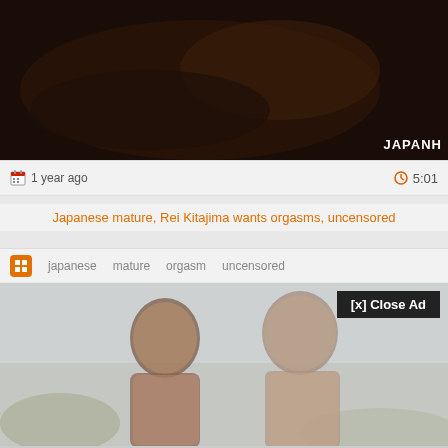[Figure (screenshot): Top portion of a video thumbnail showing a dark/dimly lit scene with a 'JAPANH' watermark in the bottom right corner]
1 year ago
5:01
Japanese mature, Rei Kitajima wants orgasms, uncensored
japanese  mature  orgasm  uncensored
[Figure (photo): Advertisement overlay showing two people posing together with a '[x] Close Ad' button in the top right corner]